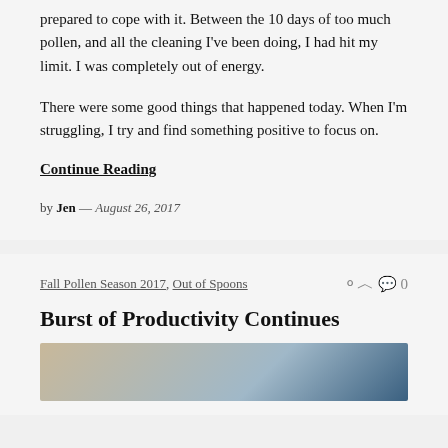prepared to cope with it. Between the 10 days of too much pollen, and all the cleaning I've been doing, I had hit my limit. I was completely out of energy.
There were some good things that happened today. When I'm struggling, I try and find something positive to focus on.
Continue Reading
by Jen — August 26, 2017
Fall Pollen Season 2017, Out of Spoons   ◯ 0
Burst of Productivity Continues
[Figure (photo): Partial photo visible at bottom of page, appears to show a person with clothing items]